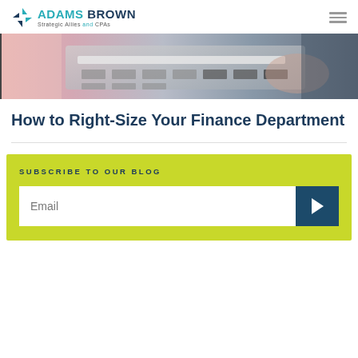[Figure (logo): Adams Brown Strategic Allies and CPAs logo with pinwheel icon]
[Figure (photo): Close-up photo of a calculator and financial documents on a desk, with pink and grey tones]
How to Right-Size Your Finance Department
SUBSCRIBE TO OUR BLOG
Email